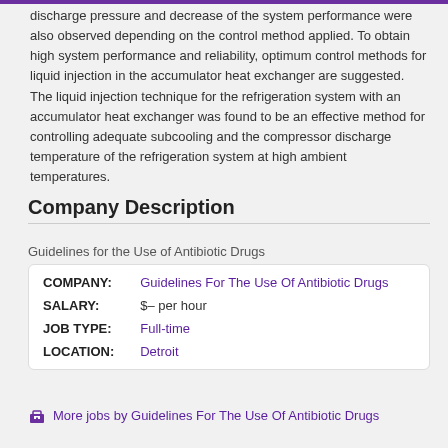discharge pressure and decrease of the system performance were also observed depending on the control method applied. To obtain high system performance and reliability, optimum control methods for liquid injection in the accumulator heat exchanger are suggested. The liquid injection technique for the refrigeration system with an accumulator heat exchanger was found to be an effective method for controlling adequate subcooling and the compressor discharge temperature of the refrigeration system at high ambient temperatures.
Company Description
Guidelines for the Use of Antibiotic Drugs
| COMPANY: | Guidelines For The Use Of Antibiotic Drugs |
| SALARY: | $– per hour |
| JOB TYPE: | Full-time |
| LOCATION: | Detroit |
More jobs by Guidelines For The Use Of Antibiotic Drugs